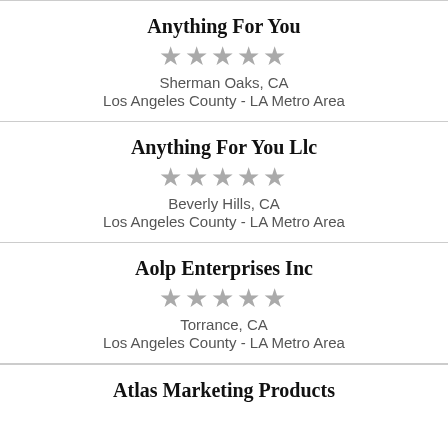Anything For You
★★★★★
Sherman Oaks, CA
Los Angeles County - LA Metro Area
Anything For You Llc
★★★★★
Beverly Hills, CA
Los Angeles County - LA Metro Area
Aolp Enterprises Inc
★★★★★
Torrance, CA
Los Angeles County - LA Metro Area
Atlas Marketing Products